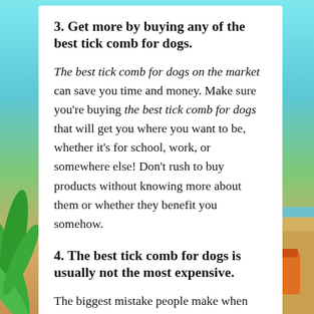3. Get more by buying any of the best tick comb for dogs.
The best tick comb for dogs on the market can save you time and money. Make sure you're buying the best tick comb for dogs that will get you where you want to be, whether it's for school, work, or somewhere else! Don't rush to buy products without knowing more about them or whether they benefit you somehow.
4. The best tick comb for dogs is usually not the most expensive.
The biggest mistake people make when choosing a particular product is choosing a product with a high price tag to go with it. While it may seem tempting to invest a large sum of money in the best tick comb for dogs in 2022, that doesn't mean the item is the best.